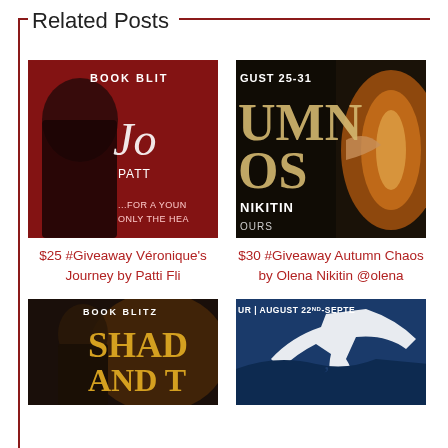Related Posts
[Figure (photo): Book cover for Véronique's Journey by Patti Fli - red background with woman's profile silhouette, text BOOK BLITZ, FOR A YOUNG, ONLY THE HEA, PATT]
$25 #Giveaway Véronique's Journey by Patti Fli
[Figure (photo): Book cover for Autumn Chaos by Olena Nikitin - dark forest background with glowing hands, text GUST 25-31, UMN, OS, NIKITIN, OURS]
$30 #Giveaway Autumn Chaos by Olena Nikitin @olena
[Figure (photo): Book cover BOOK BLITZ SHAD AND TW - fantasy woman with golden hair]
[Figure (photo): Tour banner AUGUST 22ND-SEPTE - blue background with bird silhouette]